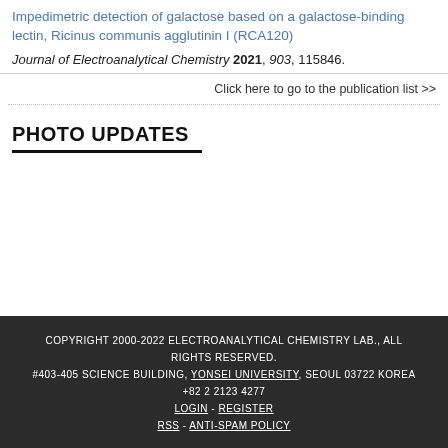Impedimetric detection of galactose based on a galactose-binding lectin, Ricinus communis agglutinin I (RCA120)
Journal of Electroanalytical Chemistry 2021, 903, 115846.
Click here to go to the publication list >>
PHOTO UPDATES
COPYRIGHT 2000-2022 ELECTROANALYTICAL CHEMISTRY LAB., ALL RIGHTS RESERVED. #403-405 SCIENCE BUILDING, YONSEI UNIVERSITY, SEOUL 03722 KOREA +82 2 2123 4277 LOGIN - REGISTER RSS - ANTI-SPAM POLICY